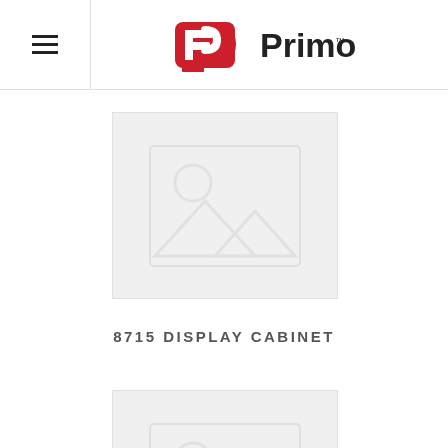Primo — navigation header with hamburger menu and Primo logo
[Figure (photo): Placeholder image for product photo — grey rectangle with image placeholder icon (circle sun and mountains silhouette)]
8715 DISPLAY CABINET
[Figure (photo): Second placeholder image for another product photo — partially visible at bottom of page]